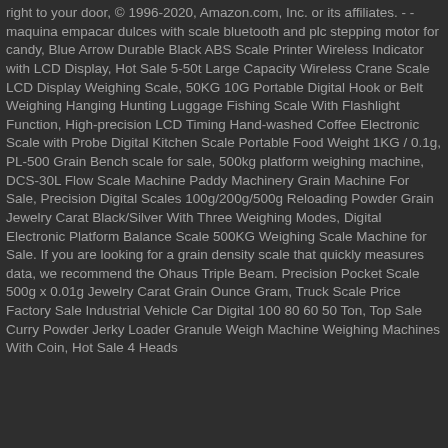right to your door, © 1996-2020, Amazon.com, Inc. or its affiliates. - - maquina empacar dulces with scale bluetooth and plc stepping motor for candy, Blue Arrow Durable Black ABS Scale Printer Wireless Indicator with LCD Display, Hot Sale 5-50t Large Capacity Wireless Crane Scale LCD Display Weighing Scale, 50KG 10G Portable Digital Hook or Belt Weighing Hanging Hunting Luggage Fishing Scale With Flashlight Function, High-precision LCD Timing Hand-washed Coffee Electronic Scale with Probe Digital Kitchen Scale Portable Food Weight 1KG / 0.1g, PL-500 Grain Bench scale for sale, 500kg platform weighing machine, DCS-30L Flow Scale Machine Paddy Machinery Grain Machine For Sale, Precision Digital Scales 100g/200g/500g Reloading Powder Grain Jewelry Carat Black/Silver With Three Weighing Modes, Digital Electronic Platform Balance Scale 500KG Weighing Scale Machine for Sale. If you are looking for a grain density scale that quickly measures data, we recommend the Ohaus Triple Beam. Precision Pocket Scale 500g x 0.01g Jewelry Carat Grain Ounce Gram, Truck Scale Price Factory Sale Industrial Vehicle Car Digital 100 80 60 50 Ton, Top Sale Curry Powder Jerky Loader Granule Weigh Machine Weighing Machines With Coin, Hot Sale 4 Heads